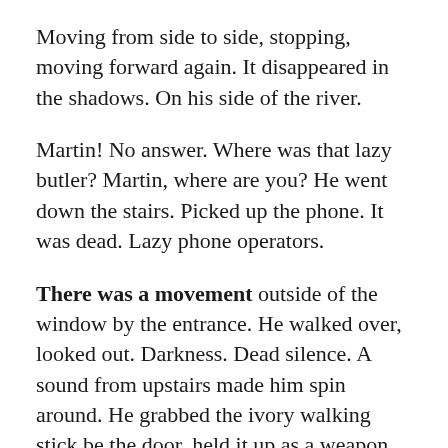Moving from side to side, stopping, moving forward again. It disappeared in the shadows. On his side of the river.
Martin! No answer. Where was that lazy butler? Martin, where are you? He went down the stairs. Picked up the phone. It was dead. Lazy phone operators.
There was a movement outside of the window by the entrance. He walked over, looked out. Darkness. Dead silence. A sound from upstairs made him spin around. He grabbed the ivory walking stick be the door, held it up as a weapon. He walked back up, went into the living room. No one. Neither in the bedroom.
He heard footsteps. Someone was coming up the stairs. Slowly. A door swing open full and...